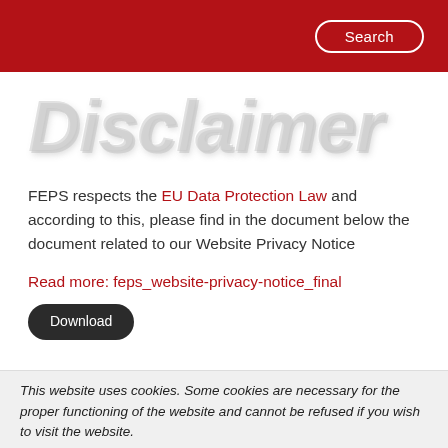Search
Disclaimer
FEPS respects the EU Data Protection Law and according to this, please find in the document below the document related to our Website Privacy Notice
Read more: feps_website-privacy-notice_final  Download
This website uses cookies. Some cookies are necessary for the proper functioning of the website and cannot be refused if you wish to visit the website.